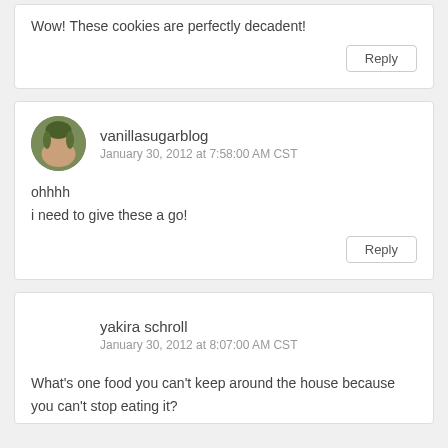Wow! These cookies are perfectly decadent!
Reply
vanillasugarblog
January 30, 2012 at 7:58:00 AM CST
ohhhh
i need to give these a go!
Reply
yakira schroll
January 30, 2012 at 8:07:00 AM CST
What's one food you can't keep around the house because you can't stop eating it?